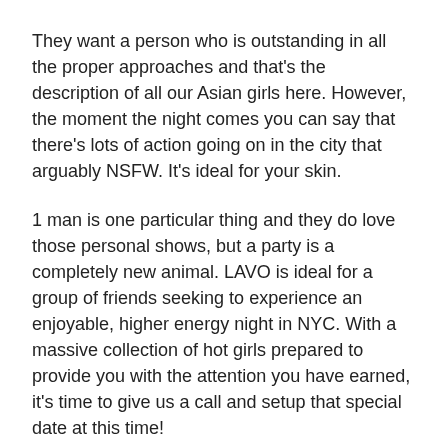They want a person who is outstanding in all the proper approaches and that's the description of all our Asian girls here. However, the moment the night comes you can say that there's lots of action going on in the city that arguably NSFW. It's ideal for your skin.
1 man is one particular thing and they do love those personal shows, but a party is a completely new animal. LAVO is ideal for a group of friends seeking to experience an enjoyable, higher energy night in NYC. With a massive collection of hot girls prepared to provide you with the attention you have earned, it's time to give us a call and setup that special date at this time!
If you may meet one of them, surely you cannot get enough of them. We come highly advisable. Don't imagine it doesn't.